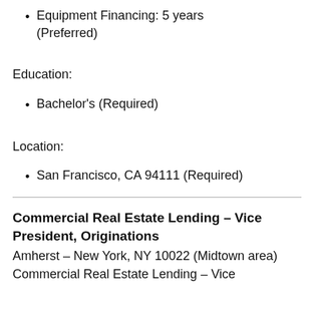Equipment Financing: 5 years (Preferred)
Education:
Bachelor's (Required)
Location:
San Francisco, CA 94111 (Required)
Commercial Real Estate Lending – Vice President, Originations
Amherst – New York, NY 10022 (Midtown area)
Commercial Real Estate Lending – Vice